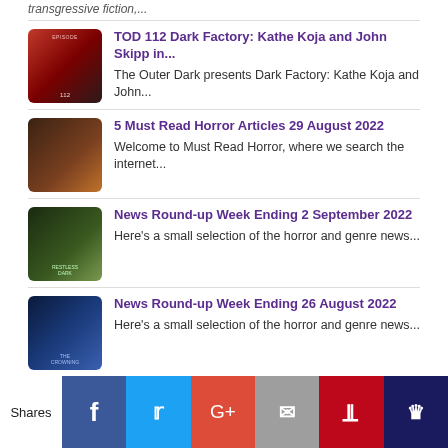transgressive fiction,...
TOD 112 Dark Factory: Kathe Koja and John Skipp in... — The Outer Dark presents Dark Factory: Kathe Koja and John...
5 Must Read Horror Articles 29 August 2022 — Welcome to Must Read Horror, where we search the internet...
News Round-up Week Ending 2 September 2022 — Here's a small selection of the horror and genre news...
News Round-up Week Ending 26 August 2022 — Here's a small selection of the horror and genre news...
Shares | Facebook | Twitter | Google+ | Email | Pinterest | Crown